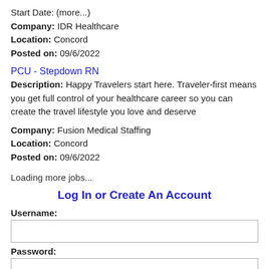Start Date: (more...)
Company: IDR Healthcare
Location: Concord
Posted on: 09/6/2022
PCU - Stepdown RN
Description: Happy Travelers start here. Traveler-first means you get full control of your healthcare career so you can create the travel lifestyle you love and deserve
Company: Fusion Medical Staffing
Location: Concord
Posted on: 09/6/2022
Loading more jobs...
Log In or Create An Account
Username:
Password: